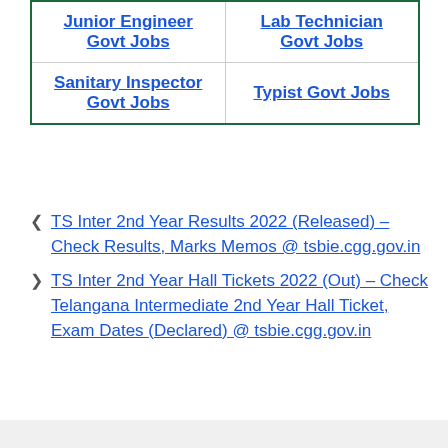| Junior Engineer Govt Jobs | Lab Technician Govt Jobs |
| Sanitary Inspector Govt Jobs | Typist Govt Jobs |
TS Inter 2nd Year Results 2022 (Released) – Check Results, Marks Memos @ tsbie.cgg.gov.in
TS Inter 2nd Year Hall Tickets 2022 (Out) – Check Telangana Intermediate 2nd Year Hall Ticket, Exam Dates (Declared) @ tsbie.cgg.gov.in